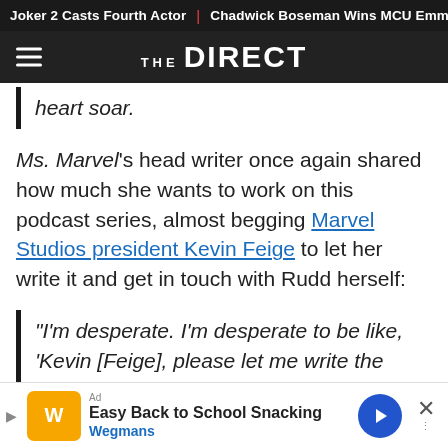Joker 2 Casts Fourth Actor | Chadwick Boseman Wins MCU Emmy
THE DIRECT
heart soar.
Ms. Marvel's head writer once again shared how much she wants to work on this podcast series, almost begging Marvel Studios president Kevin Feige to let her write it and get in touch with Rudd herself:
“I’m desperate. I’m desperate to be like, ‘Kevin [Feige], please let me write the podcast and call Paul Rudd!’ I bet we can
Easy Back to School Snacking Wegmans